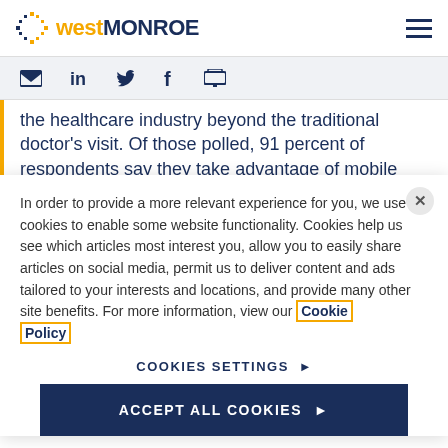[Figure (logo): West Monroe logo with dot-grid icon, 'west' in yellow/gold and 'MONROE' in dark navy blue]
[Figure (infographic): Navigation icons: email envelope, LinkedIn 'in', Twitter bird, Facebook 'f', print icon]
the healthcare industry beyond the traditional doctor's visit. Of those polled, 91 percent of respondents say they take advantage of mobile
In order to provide a more relevant experience for you, we use cookies to enable some website functionality. Cookies help us see which articles most interest you, allow you to easily share articles on social media, permit us to deliver content and ads tailored to your interests and locations, and provide many other site benefits. For more information, view our Cookie Policy
COOKIES SETTINGS ▶
ACCEPT ALL COOKIES ▶